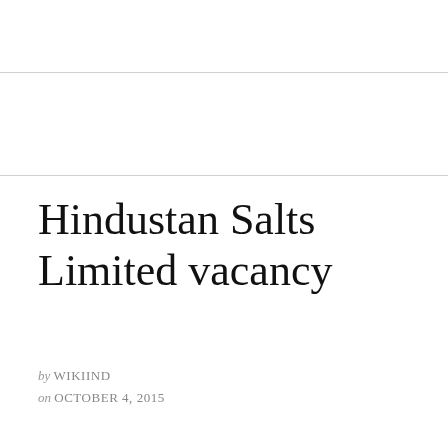Hindustan Salts Limited vacancy
by WIKIIND
on OCTOBER 4, 2015